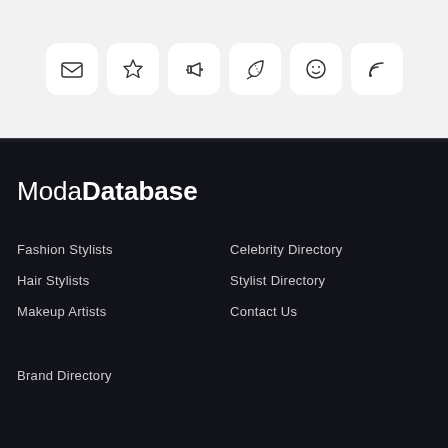[Figure (infographic): Row of six icon buttons on light gray background: envelope/mail, star, megaphone/announcement, leaf/pen nib, smiley face, RSS feed]
ModaDatabase
Fashion Stylists
Hair Stylists
Makeup Artists
Celebrity Directory
Stylist Directory
Contact Us
Brand Directory